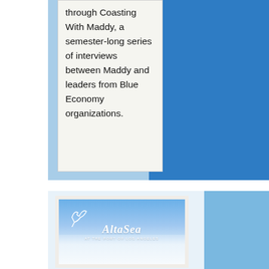through Coasting With Maddy, a semester-long series of interviews between Maddy and leaders from Blue Economy organizations.
[Figure (logo): AltaSea at the Port of Los Angeles logo — white italic text 'AltaSea' with a bird/fish graphic on a blue sky and clouds background]